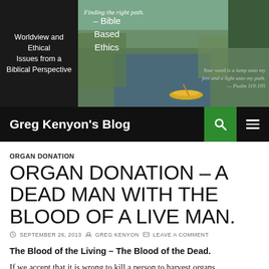Worldview and Ethical Issues from a Biblical Perspective - Bible Based Ethics - Finding the right path. - Your word is a lamp unto my feet and a light unto my path. — Psalm 119:105
Greg Kenyon's Blog
ORGAN DONATION
ORGAN DONATION – A DEAD MAN WITH THE BLOOD OF A LIVE MAN.
SEPTEMBER 26, 2013  GREG KENYON  LEAVE A COMMENT
The Blood of the Living – The Blood of the Dead.
If we accept that it is wrong to kill a person to harvest organs,